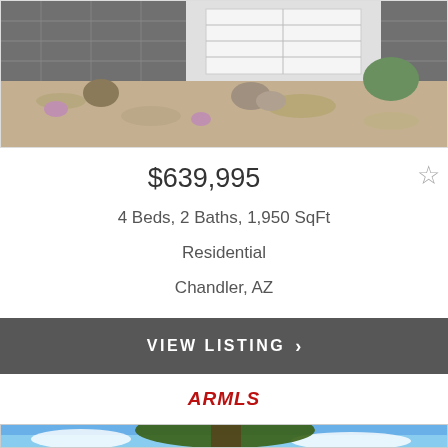[Figure (photo): Exterior photo of a residential home with desert landscaping, stone facade, white garage door, and gravel front yard with cacti and desert plants]
$639,995
4 Beds, 2 Baths, 1,950 SqFt
Residential
Chandler, AZ
VIEW LISTING >
[Figure (logo): ARMLS logo in red italic bold font]
[Figure (photo): Outdoor photo with large tree canopy against blue sky with white clouds]